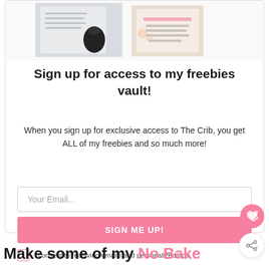[Figure (photo): Decorative images showing products/freebies at the top of the signup card]
Sign up for access to my freebies vault!
When you sign up for exclusive access to The Crib, you get ALL of my freebies and so much more!
Your Email...
SIGN ME UP!
I consent to receiving emails and personalized ads.
Make some of my No Bake